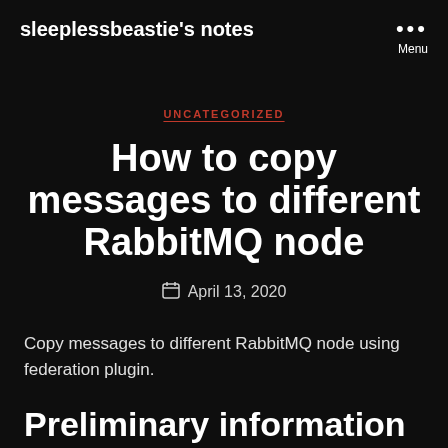sleeplessbeastie's notes
UNCATEGORIZED
How to copy messages to different RabbitMQ node
April 13, 2020
Copy messages to different RabbitMQ node using federation plugin.
Preliminary information